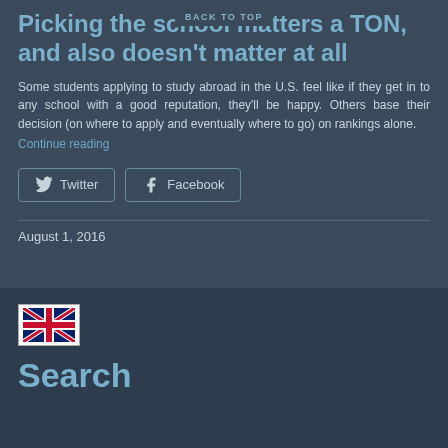BACK TO TOP
Picking the school matters a TON, and also doesn't matter at all
Some students applying to study abroad in the U.S. feel like if they get in to any school with a good reputation, they'll be happy. Others base their decision (on where to apply and eventually where to go) on rankings alone. Continue reading
August 1, 2016
[Figure (illustration): UK flag icon in a white box]
Search